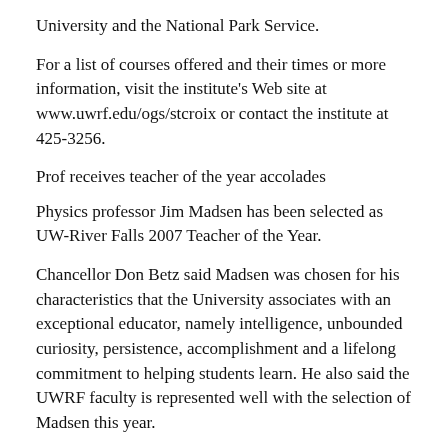University and the National Park Service.
For a list of courses offered and their times or more information, visit the institute's Web site at www.uwrf.edu/ogs/stcroix or contact the institute at 425-3256.
Prof receives teacher of the year accolades
Physics professor Jim Madsen has been selected as UW-River Falls 2007 Teacher of the Year.
Chancellor Don Betz said Madsen was chosen for his characteristics that the University associates with an exceptional educator, namely intelligence, unbounded curiosity, persistence, accomplishment and a lifelong commitment to helping students learn. He also said the UWRF faculty is represented well with the selection of Madsen this year.
Hudson recognized as a top small town
Hudson, Wis., was recognized by Midwest Living magazine as a top small town to visit in the Midwest